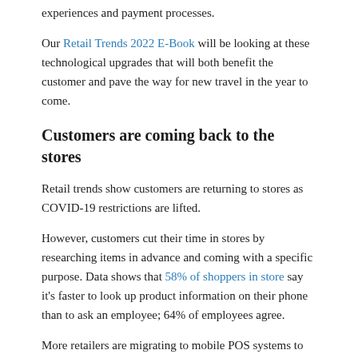experiences and payment processes.
Our Retail Trends 2022 E-Book will be looking at these technological upgrades that will both benefit the customer and pave the way for new travel in the year to come.
Customers are coming back to the stores
Retail trends show customers are returning to stores as COVID-19 restrictions are lifted.
However, customers cut their time in stores by researching items in advance and coming with a specific purpose. Data shows that 58% of shoppers in store say it’s faster to look up product information on their phone than to ask an employee; 64% of employees agree.
More retailers are migrating to mobile POS systems to allow associates to verify customers on the store floor and quickly look